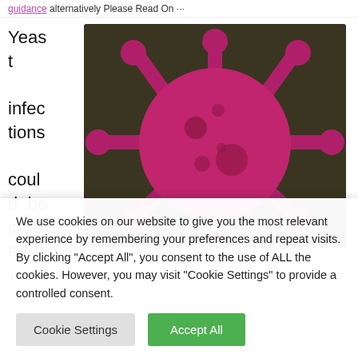guidance alternatively Please Read On ···
Yeast infections could be caused
[Figure (illustration): Illustration of a virus/yeast cell: a large pink/magenta circle with small protruding spike-like arms ending in round bulb tips, on a dark olive/brown background. Small darker circles visible on the main body.]
We use cookies on our website to give you the most relevant experience by remembering your preferences and repeat visits. By clicking "Accept All", you consent to the use of ALL the cookies. However, you may visit "Cookie Settings" to provide a controlled consent.